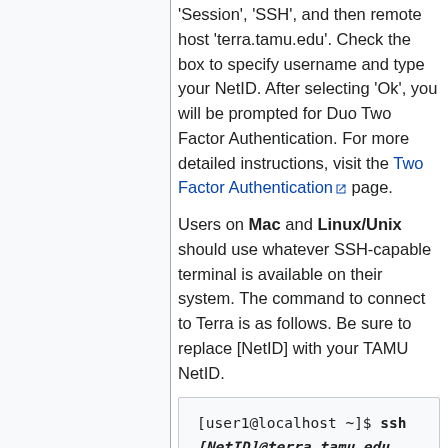'Session', 'SSH', and then remote host 'terra.tamu.edu'. Check the box to specify username and type your NetID. After selecting 'Ok', you will be prompted for Duo Two Factor Authentication. For more detailed instructions, visit the Two Factor Authentication page.
Users on Mac and Linux/Unix should use whatever SSH-capable terminal is available on their system. The command to connect to Terra is as follows. Be sure to replace [NetID] with your TAMU NetID.
[user1@localhost ~]$ ssh [NetID]@terra.tamu.edu
Note: In this example [user1@localhost ~]$ represents the command prompt on your local machine.
Your login password is the same that